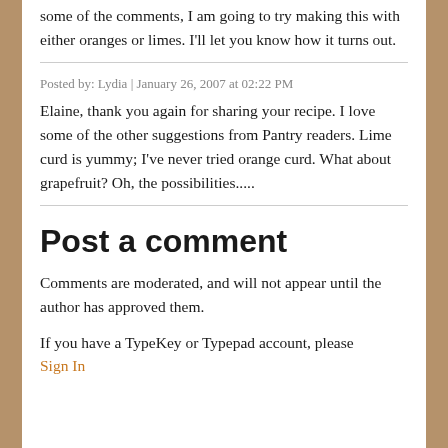some of the comments, I am going to try making this with either oranges or limes. I'll let you know how it turns out.
Posted by: Lydia | January 26, 2007 at 02:22 PM
Elaine, thank you again for sharing your recipe. I love some of the other suggestions from Pantry readers. Lime curd is yummy; I've never tried orange curd. What about grapefruit? Oh, the possibilities.....
Post a comment
Comments are moderated, and will not appear until the author has approved them.
If you have a TypeKey or Typepad account, please Sign In